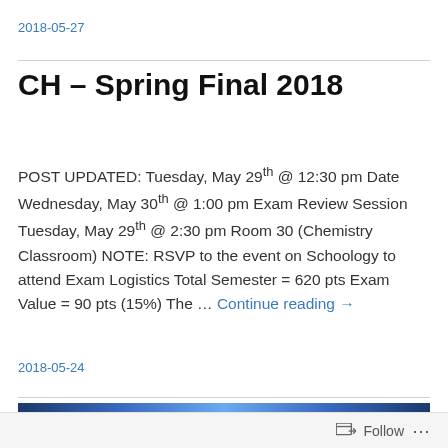2018-05-27
CH – Spring Final 2018
POST UPDATED: Tuesday, May 29th @ 12:30 pm Date Wednesday, May 30th @ 1:00 pm Exam Review Session Tuesday, May 29th @ 2:30 pm Room 30 (Chemistry Classroom) NOTE: RSVP to the event on Schoology to attend Exam Logistics Total Semester = 620 pts Exam Value = 90 pts (15%) The … Continue reading →
2018-05-24
[Figure (photo): Blue image strip partially visible at bottom of page]